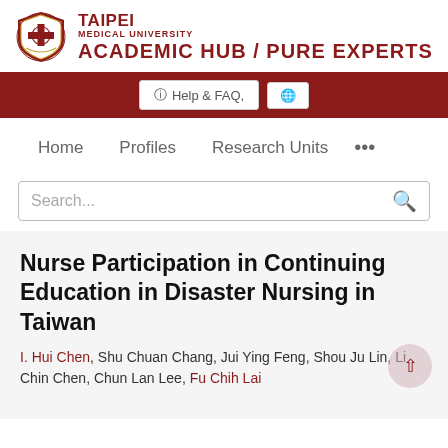[Figure (logo): Taipei Medical University shield/crest logo with text TAIPEI MEDICAL UNIVERSITY ACADEMIC HUB / PURE EXPERTS]
Help & FAQ,   [globe icon]
Home   Profiles   Research Units   ...
Search...
Nurse Participation in Continuing Education in Disaster Nursing in Taiwan
I. Hui Chen, Shu Chuan Chang, Jui Ying Feng, Shou Ju Lin, Li Chin Chen, Chun Lan Lee, Fu Chih Lai